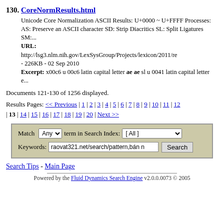130. CoreNormResults.html
Unicode Core Normalization ASCII Results: U+0000 ~ U+FFFF Processes: AS: Preserve an ASCII character SD: Strip Diacritics SL: Split Ligatures SM:...
URL: http://lsg3.nlm.nih.gov/LexSysGroup/Projects/lexicon/2011/re - 226KB - 02 Sep 2010
Excerpt: x00c6 u 00c6 latin capital letter ae ae sl u 0041 latin capital letter e...
Documents 121-130 of 1256 displayed.
Results Pages: << Previous | 1 | 2 | 3 | 4 | 5 | 6 | 7 | 8 | 9 | 10 | 11 | 12 | 13 | 14 | 15 | 16 | 17 | 18 | 19 | 20 | Next >>
Match Any term in Search Index: [All] Keywords: raovat321.net/search/pattern,bán n Search
Search Tips - Main Page
Powered by the Fluid Dynamics Search Engine v2.0.0.0073 © 2005